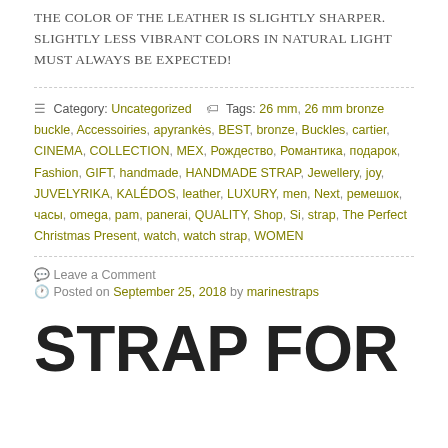THE COLOR OF THE LEATHER IS SLIGHTLY SHARPER. SLIGHTLY LESS VIBRANT COLORS IN NATURAL LIGHT MUST ALWAYS BE EXPECTED!
≡ Category: Uncategorized   🏷 Tags: 26 mm, 26 mm bronze buckle, Accessoiries, apyrankės, BEST, bronze, Buckles, cartier, CINEMA, COLLECTION, MEX, Рождество, Романтика, подарок, Fashion, GIFT, handmade, HANDMADE STRAP, Jewellery, joy, JUVELYRIKA, KALÉDOS, leather, LUXURY, men, Next, ремешок, часы, omega, pam, panerai, QUALITY, Shop, Si, strap, The Perfect Christmas Present, watch, watch strap, WOMEN
Leave a Comment
Posted on September 25, 2018 by marinestraps
STRAP FOR